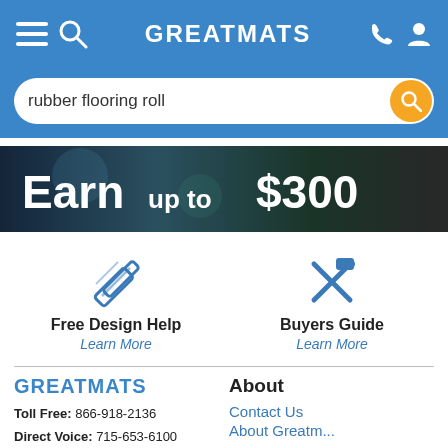GREATMATS
rubber flooring roll
[Figure (screenshot): Promotional banner with dark background showing text: Earn up to $300]
Free Design Help
Learn More
Buyers Guide
Learn More
GREATMATS
Toll Free: 866-918-2136
Direct Voice: 715-653-6100
About
Contact Us
About Greatmats